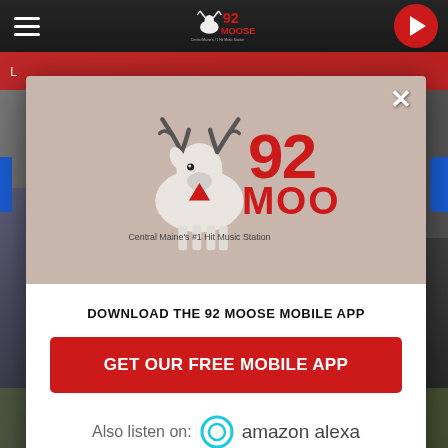[Figure (screenshot): 92 Moose radio station website screenshot with dark navigation bar at top, hamburger menu icon on left, 92 Moose logo in center, red play button on right, blurred photo of people in background]
[Figure (logo): 92 Moose logo — moose mascot illustration with large red '92' and 'MOOSE' text, tagline 'Central Maine's #1 Hit Music Station']
DOWNLOAD THE 92 MOOSE MOBILE APP
GET OUR FREE MOBILE APP
Also listen on:  amazon alexa